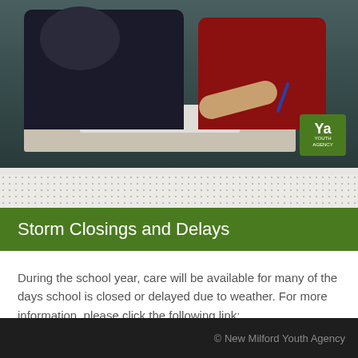[Figure (photo): Students sitting at a desk, one in a dark jacket and one in a red jacket, appearing to write or draw. A youth agency logo is visible in the bottom right corner of the photo.]
Storm Closings and Delays
During the school year, care will be available for many of the days school is closed or delayed due to weather. For more information, please click the following link:
Storm Closings and Delays
© New Milford Youth Agency